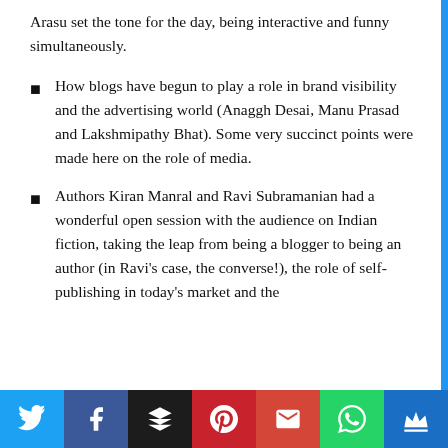Arasu set the tone for the day, being interactive and funny simultaneously.
How blogs have begun to play a role in brand visibility and the advertising world (Anaggh Desai, Manu Prasad and Lakshmipathy Bhat). Some very succinct points were made here on the role of media.
Authors Kiran Manral and Ravi Subramanian had a wonderful open session with the audience on Indian fiction, taking the leap from being a blogger to being an author (in Ravi's case, the converse!), the role of self-publishing in today's market and the